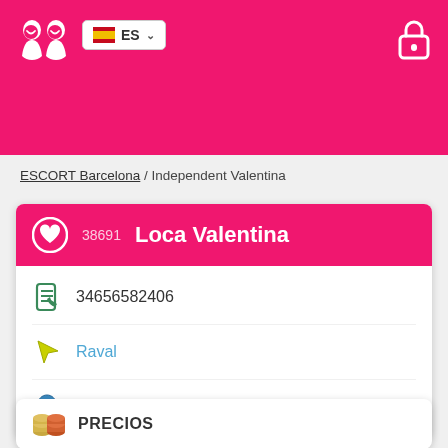ES (language selector) | lock icon
ESCORT Barcelona / Independent Valentina
38691 Loca Valentina
34656582406
Raval
Barceloneta
PRECIOS